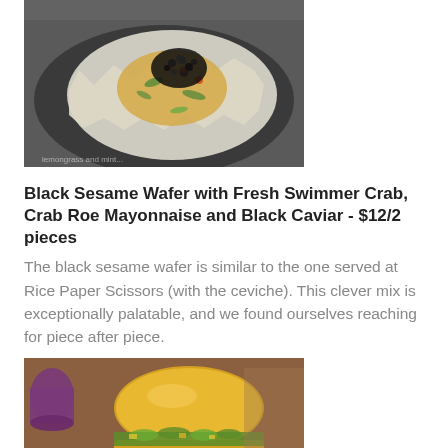[Figure (photo): A black sesame wafer topped with fresh swimmer crab, crab roe mayonnaise, and black caviar, served on a dark slate plate.]
Black Sesame Wafer with Fresh Swimmer Crab, Crab Roe Mayonnaise and Black Caviar - $12/2 pieces
The black sesame wafer is similar to the one served at Rice Paper Scissors (with the ceviche). This clever mix is exceptionally palatable, and we found ourselves reaching for piece after piece.
[Figure (photo): A golden brioche slider bun filled with greens and vegetables, served on a white plate.]